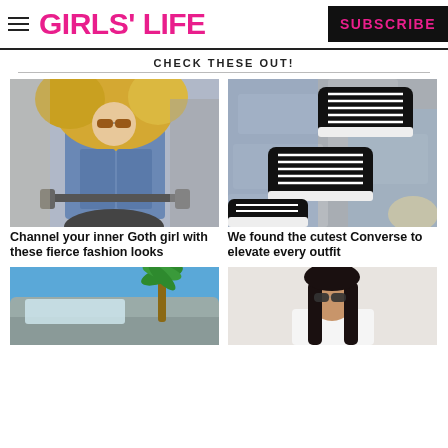GIRLS' LIFE | SUBSCRIBE
CHECK THESE OUT!
[Figure (photo): Blonde girl in denim jacket on a motorcycle, sunglasses, windswept hair]
Channel your inner Goth girl with these fierce fashion looks
[Figure (photo): Overhead view of two feet in black and white Converse sneakers, jeans, stone ground]
We found the cutest Converse to elevate every outfit
[Figure (photo): Partial view of a car and palm tree, blue sky]
[Figure (photo): Young woman in white shirt and sunglasses against a light wall]